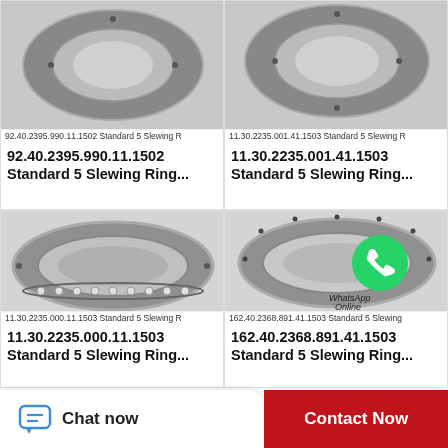[Figure (photo): Slewing ring bearing photo - top view, partially cropped]
92.40.2395.990.11.1502 Standard 5 Slewing R
92.40.2395.990.11.1502 Standard 5 Slewing Ring...
[Figure (photo): Slewing ring bearing photo - top view, partially cropped]
11.30.2235.001.41.1503 Standard 5 Slewing R
11.30.2235.001.41.1503 Standard 5 Slewing Ring...
[Figure (photo): Slewing ring bearing - full ring visible with ball track, silver/chrome finish]
11.30.2235.000.11.1503 Standard 5 Slewing R
11.30.2235.000.11.1503 Standard 5 Slewing Ring...
[Figure (photo): Slewing ring bearing with WhatsApp Online overlay icon]
162.40.2368.891.41.1503 Standard 5 Slewing
162.40.2368.891.41.1503 Standard 5 Slewing Ring...
Chat now
Contact Now